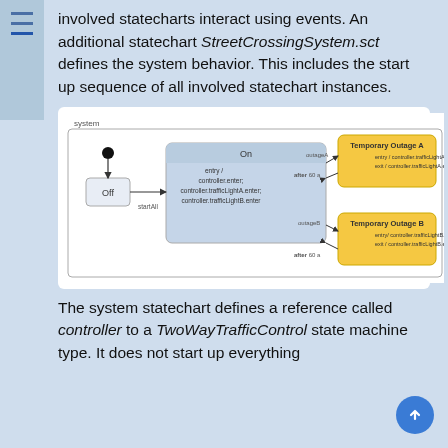involved statecharts interact using events. An additional statechart StreetCrossingSystem.sct defines the system behavior. This includes the start up sequence of all involved statechart instances.
[Figure (flowchart): Statechart diagram showing a 'system' with an 'Off' state connected to an 'On' state (entry: controller.enter; controller.trafficLightA.enter; controller.trafficLightB.enter) via 'startAll' transition. The 'On' state connects to 'Temporary Outage A' (entry/controller.trafficLightA.*exit; exit/controller.trafficLightA.enter) via 'outageA' and 'after 60 s', and to 'Temporary Outage B' (entry/controller.trafficLightB.*exit; exit/controller.trafficLightB.enter) via 'outageB' and 'after 60 s'.]
The system statechart defines a reference called controller to a TwoWayTrafficControl state machine type. It does not start up everything